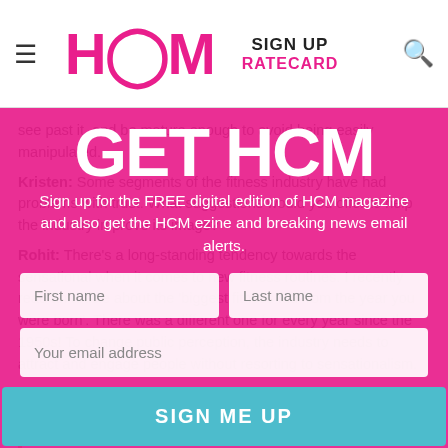HCM | SIGN UP | RATECARD
see past it, and be mature enough to avoid being easily manipulated.
Kristen: Some segments of the fitness industry have had problems with trust. What suggestions would you offer to help the industry improve its image?
Rohit: There's a long-standing tendency towards the sensational when it comes to new fitness routines. I recently read an article about the 'biggest fitness fad from the year you were born'. There was a different one for every year since the 1950s! To change public perception, the industry needs to attract and engage people without resorting to sensationalism.
[Figure (infographic): GET HCM modal overlay on pink/magenta background with sign-up form. Contains title 'GET HCM', subtitle text about signing up for free digital edition of HCM magazine and HCM ezine, input fields for First name, Last name, email address, a teal SIGN ME UP button, and a 'Not right now, thanks' dismiss link.]
"If there's a broader mission in all that I do, it's a quest to get people to actively seek out points of view that are unlike their own"